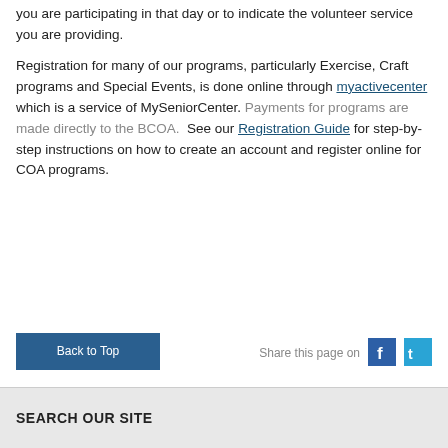you are participating in that day or to indicate the volunteer service you are providing.
Registration for many of our programs, particularly Exercise, Craft programs and Special Events, is done online through myactivecenter which is a service of MySeniorCenter. Payments for programs are made directly to the BCOA. See our Registration Guide for step-by-step instructions on how to create an account and register online for COA programs.
Back to Top
Share this page on
SEARCH OUR SITE